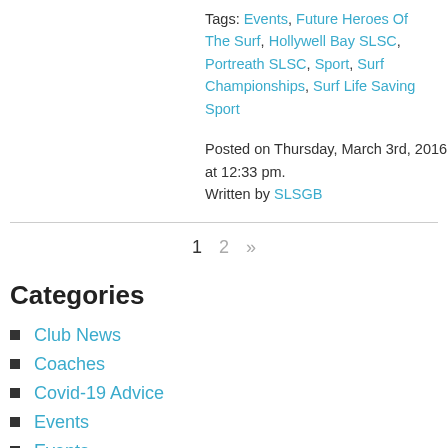Tags: Events, Future Heroes Of The Surf, Hollywell Bay SLSC, Portreath SLSC, Sport, Surf Championships, Surf Life Saving Sport
Posted on Thursday, March 3rd, 2016 at 12:33 pm. Written by SLSGB
1 2 »
Categories
Club News
Coaches
Covid-19 Advice
Events
Events
Lifeguards